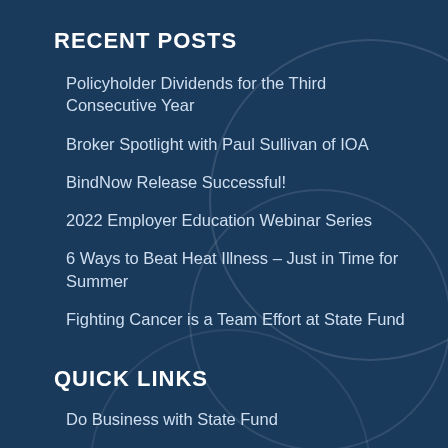RECENT POSTS
Policyholder Dividends for the Third Consecutive Year
Broker Spotlight with Paul Sullivan of IOA
BindNow Release Successful!
2022 Employer Education Webinar Series
6 Ways to Beat Heat Illness – Just in Time for Summer
Fighting Cancer is a Team Effort at State Fund
QUICK LINKS
Do Business with State Fund